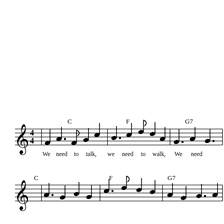[Figure (illustration): Sheet music notation showing two staves with treble clef, 4/4 time signature, chord symbols C, F, G7 above the staves, and lyrics 'We need to talk, we need to walk, We need' below the first staff, with a second staff below showing continuation with chord symbols C, F, G7.]